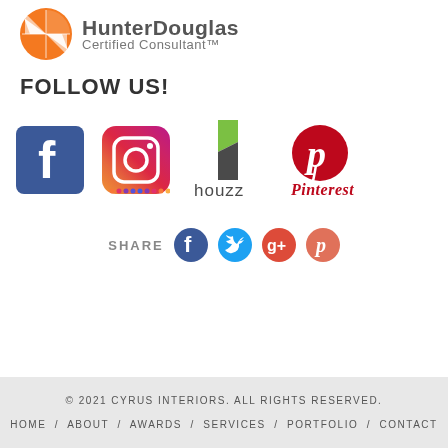[Figure (logo): HunterDouglas Certified Consultant logo with orange geometric icon and gray text]
FOLLOW US!
[Figure (logo): Social media logos: Facebook, Instagram, Houzz, Pinterest]
SHARE
[Figure (logo): Share icons: Facebook, Twitter, Google+, Pinterest]
© 2021 CYRUS INTERIORS. ALL RIGHTS RESERVED.
HOME / ABOUT / AWARDS / SERVICES / PORTFOLIO / CONTACT